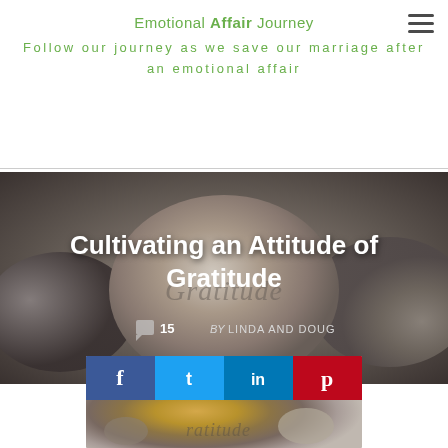Emotional Affair Journey
Follow our journey as we save our marriage after an emotional affair
[Figure (photo): Hero banner with stones background showing a rounded stone with 'Gratitude' engraved, dark gray tones]
Cultivating an Attitude of Gratitude
15  BY LINDA AND DOUG
[Figure (photo): Stones with gratitude text and social share buttons overlay (Facebook, Twitter, LinkedIn, Pinterest)]